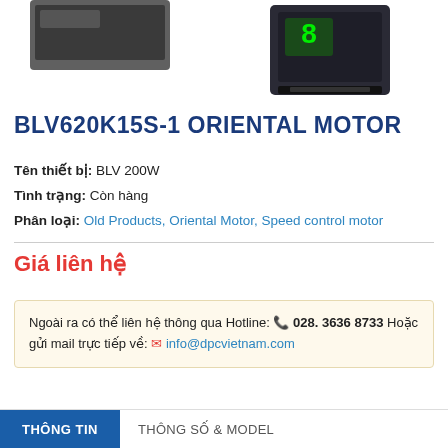[Figure (photo): Product photo of BLV620K15S-1 Oriental Motor drive unit, showing top partial view and right side view of a dark-colored rectangular electronic motor controller with green LED display]
BLV620K15S-1 ORIENTAL MOTOR
Tên thiết bị: BLV 200W
Tình trạng: Còn hàng
Phân loại: Old Products, Oriental Motor, Speed control motor
Giá liên hệ
Ngoài ra có thể liên hệ thông qua Hotline: 028. 3636 8733 Hoặc gửi mail trực tiếp về: info@dpcvietnam.com
THÔNG TIN
THÔNG SỐ & MODEL